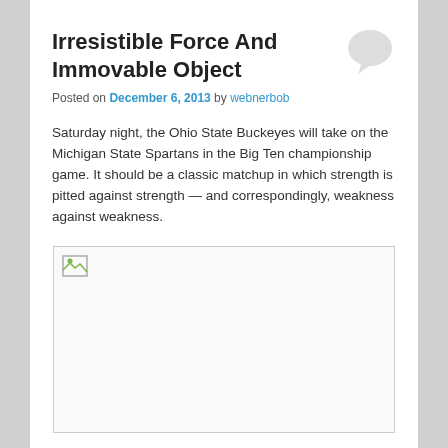Irresistible Force And Immovable Object
Posted on December 6, 2013 by webnerbob
Saturday night, the Ohio State Buckeyes will take on the Michigan State Spartans in the Big Ten championship game. It should be a classic matchup in which strength is pitted against strength — and correspondingly, weakness against weakness.
[Figure (photo): A broken image placeholder box representing an image that failed to load]